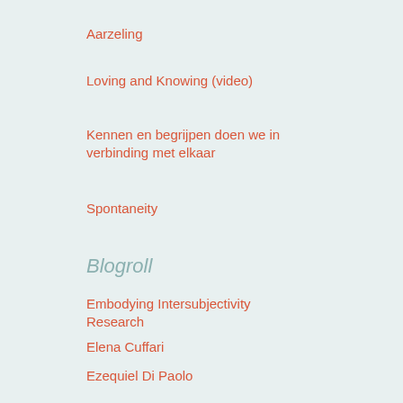Aarzeling
Loving and Knowing (video)
Kennen en begrijpen doen we in verbinding met elkaar
Spontaneity
Blogroll
Embodying Intersubjectivity Research
Elena Cuffari
Ezequiel Di Paolo
ENSO Seminars
Life and Mind Seminar network
Linguistic Bodies